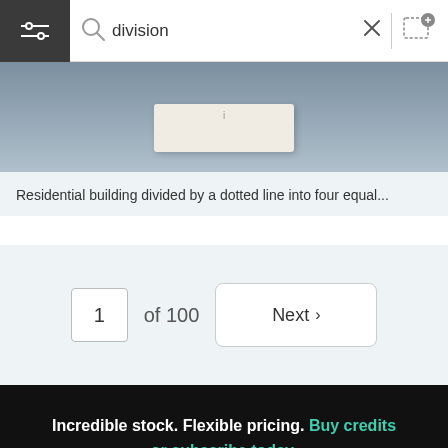[Figure (screenshot): Top search bar with hamburger menu (dark background), search magnifier icon, search query text 'division', X close button, divider, and upload image icon]
[Figure (photo): Partial photo of a white wooden block on a blue/grey surface]
Residential building divided by a dotted line into four equal...
1 of 100
Next >
Incredible stock. Flexible pricing. Buy credits or subscribe today.